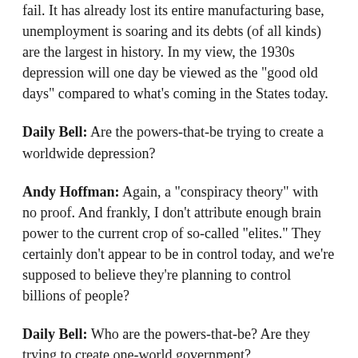fail. It has already lost its entire manufacturing base, unemployment is soaring and its debts (of all kinds) are the largest in history. In my view, the 1930s depression will one day be viewed as the "good old days" compared to what's coming in the States today.
Daily Bell: Are the powers-that-be trying to create a worldwide depression?
Andy Hoffman: Again, a "conspiracy theory" with no proof. And frankly, I don't attribute enough brain power to the current crop of so-called "elites." They certainly don't appear to be in control today, and we're supposed to believe they're planning to control billions of people?
Daily Bell: Who are the powers-that-be? Are they trying to create one-world government?
Andy Hoffman: I have no idea if they exist, and care not. I don't have the time to follow conspiracy theories about the